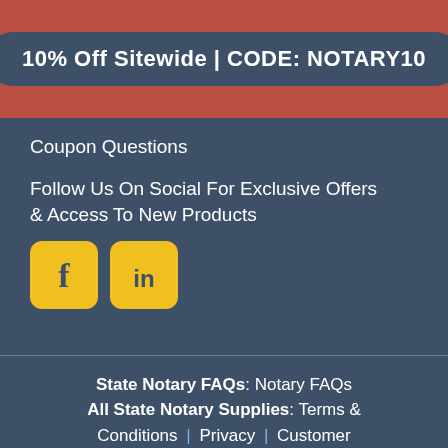10% Off Sitewide  |  CODE: NOTARY10
Coupon Questions
Follow Us On Social For Exclusive Offers & Access To New Products
[Figure (logo): Facebook and LinkedIn social media icons in yellow rounded square buttons]
State Notary FAQs: Notary FAQs
All State Notary Supplies: Terms & Conditions | Privacy | Customer